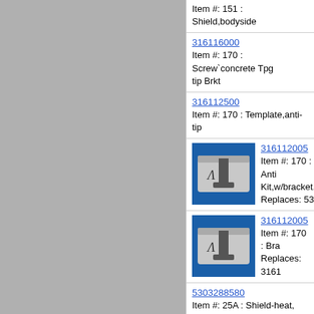Item #: 151 : Shield,bodyside
316116000
Item #: 170 : Screw`concrete Tpg tip Brkt
316112500
Item #: 170 : Template,anti-tip
316112005
Item #: 170 : Anti Kit,w/bracket,scr
Replaces: 5303...
316112005
Item #: 170 : Bra
Replaces: 3161...
5303288580
Item #: 25A : Shield-heat, Lower
316217701
Item #: 30A : Bracket,hinge ,lh ,mai
316135100
Item #: 33A : Shield,oven Light ,rea
316233500
Item #: 41A : Screw,hinge,cutout...